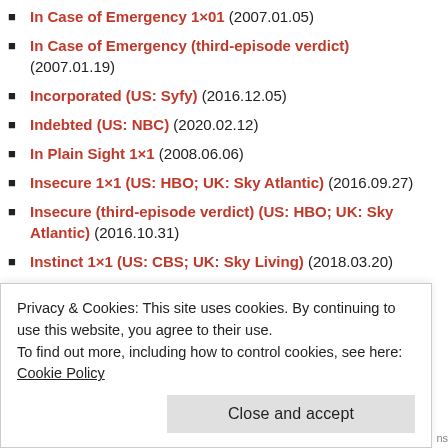In Case of Emergency 1×01 (2007.01.05)
In Case of Emergency (third-episode verdict) (2007.01.19)
Incorporated (US: Syfy) (2016.12.05)
Indebted (US: NBC) (2020.02.12)
In Plain Sight 1×1 (2008.06.06)
Insecure 1×1 (US: HBO; UK: Sky Atlantic) (2016.09.27)
Insecure (third-episode verdict) (US: HBO; UK: Sky Atlantic) (2016.10.31)
Instinct 1×1 (US: CBS; UK: Sky Living) (2018.03.20)
Intelligence (third-episode verdict) (CBS) (2014.01.22)
In the Dark 1×1 (US: The CW) (2019.04.08)
Privacy & Cookies: This site uses cookies. By continuing to use this website, you agree to their use. To find out more, including how to control cookies, see here: Cookie Policy
Close and accept